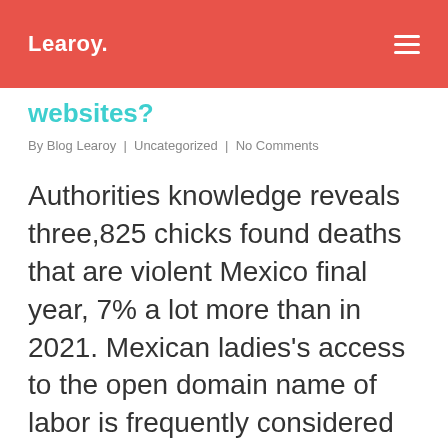Learoy.
websites?
By Blog Learoy | Uncategorized | No Comments
Authorities knowledge reveals three,825 chicks found deaths that are violent Mexico final year, 7% a lot more than in 2021. Mexican ladies's access to the open domain name of labor is frequently considered to be an expansion of these